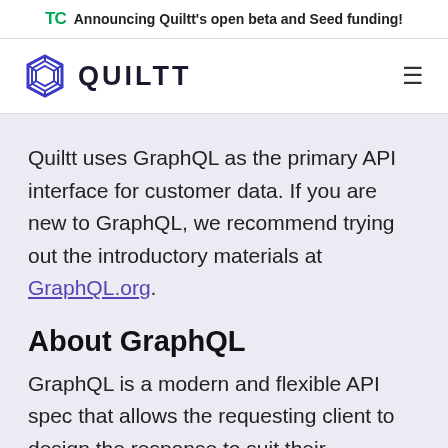Announcing Quiltt's open beta and Seed funding!
[Figure (logo): Quiltt logo with hexagon icon and text QUILTT, plus hamburger menu icon]
Quiltt uses GraphQL as the primary API interface for customer data. If you are new to GraphQL, we recommend trying out the introductory materials at GraphQL.org.
About GraphQL
GraphQL is a modern and flexible API spec that allows the requesting client to design the response to suit their